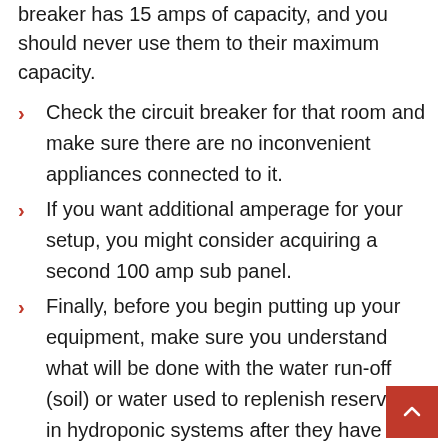breaker has 15 amps of capacity, and you should never use them to their maximum capacity.
Check the circuit breaker for that room and make sure there are no inconvenient appliances connected to it.
If you want additional amperage for your setup, you might consider acquiring a second 100 amp sub panel.
Finally, before you begin putting up your equipment, make sure you understand what will be done with the water run-off (soil) or water used to replenish reservoirs in hydroponic systems after they have been set up.